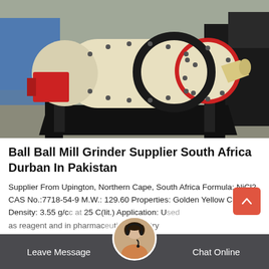[Figure (photo): A large industrial ball mill grinder on a black metal frame/skid, cylindrical cream-colored drum body with red end ring and bolts, large gear ring, and discharge funnel, photographed outdoors in an equipment yard with other machinery and a blue structure visible in the background.]
Ball Ball Mill Grinder Supplier South Africa Durban In Pakistan
Supplier From Upington, Northern Cape, South Africa Formula: NiCl2 CAS No.:7718-54-9 M.W.: 129.60 Properties: Golden Yellow Crystal, Density: 3.55 g/cc at 25 C(lit.) Application: Used as reagent and in pharmaceutical industry